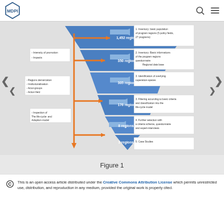MDPI
[Figure (flowchart): Funnel/flowchart diagram showing regional selection process from 1,452 regions down to 3 regions through 5 inventory and filtering steps. Left side shows orange arrows descending with bullet criteria boxes. Center shows a blue inverted funnel with region counts: 1,452 regions, 350 regions, 305 regions, 176 regions, 8 regions, 3 regions. Right side shows numbered steps in white boxes: 1. Inventory: basic population of program regions (5 policy fields, 27 programs), 2. Inventory: Basic informations of the program regions questionnaire / Regional data base, 3. Identification of overlying cooperation-spaces, 3. Filtering according to basic criteria and classification into the life-cycle model, 4. Further selection with a criteria scheme, questionnaire and expert-interviews, 5. Case Studies.]
Figure 1
This is an open access article distributed under the Creative Commons Attribution License which permits unrestricted use, distribution, and reproduction in any medium, provided the original work is properly cited.